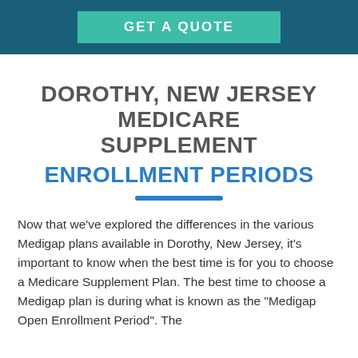GET A QUOTE
DOROTHY, NEW JERSEY MEDICARE SUPPLEMENT ENROLLMENT PERIODS
Now that we've explored the differences in the various Medigap plans available in Dorothy, New Jersey, it's important to know when the best time is for you to choose a Medicare Supplement Plan. The best time to choose a Medigap plan is during what is known as the "Medigap Open Enrollment Period". The